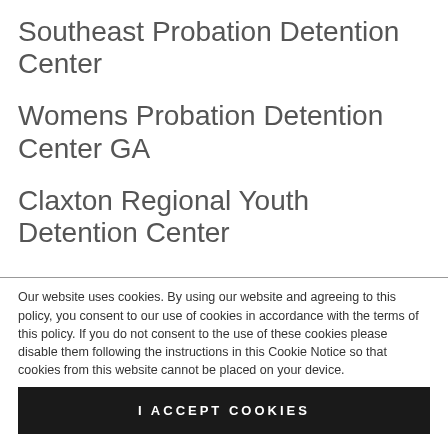Southeast Probation Detention Center
Womens Probation Detention Center GA
Claxton Regional Youth Detention Center
Womens Detention Center
Our website uses cookies. By using our website and agreeing to this policy, you consent to our use of cookies in accordance with the terms of this policy. If you do not consent to the use of these cookies please disable them following the instructions in this Cookie Notice so that cookies from this website cannot be placed on your device.
I ACCEPT COOKIES